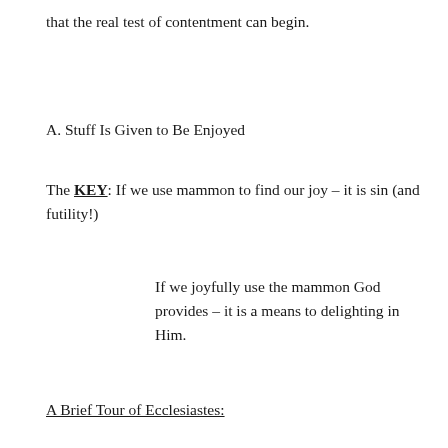that the real test of contentment can begin.
A. Stuff Is Given to Be Enjoyed
The KEY: If we use mammon to find our joy – it is sin (and futility!)
If we joyfully use the mammon God provides – it is a means to delighting in Him.
A Brief Tour of Ecclesiastes: